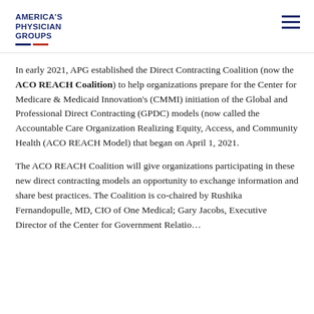AMERICA'S PHYSICIAN GROUPS
In early 2021, APG established the Direct Contracting Coalition (now the ACO REACH Coalition) to help organizations prepare for the Center for Medicare & Medicaid Innovation's (CMMI) initiation of the Global and Professional Direct Contracting (GPDC) models (now called the Accountable Care Organization Realizing Equity, Access, and Community Health (ACO REACH Model) that began on April 1, 2021.
The ACO REACH Coalition will give organizations participating in these new direct contracting models an opportunity to exchange information and share best practices. The Coalition is co-chaired by Rushika Fernandopulle, MD, CIO of One Medical; Gary Jacobs, Executive Director of the Center for Government Relations...